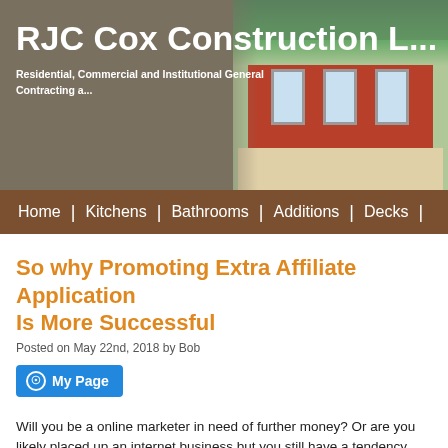RJC Cox Construction L... — Residential, Commercial and Institutional General Contracting a...
[Figure (screenshot): Website header with company name 'RJC Cox Construction L...' on dark brownish-grey background and a photo of a brick house on the right]
Home | Kitchens | Bathrooms | Additions | Decks |
So why Promoting Extra Affiliate Application Is More Successful
Posted on May 22nd, 2018 by Bob
My Page
Will you be a online marketer in need of further money? Or are you likely placed up an internet business but you still have a tendency have any merchandise to sell? If perhaps so, internet marketing may end up being best answer for the complications. With affiliate promoting, you'll not will m to be anxious about the products you should sell. All you should have can described as website with sufficient elements that will be associated with products of a specific online firm offering affiliate programs. By simply becoming a member of this program, or by becoming an affiliate, you can off generating a certain quantity of funds right apart!